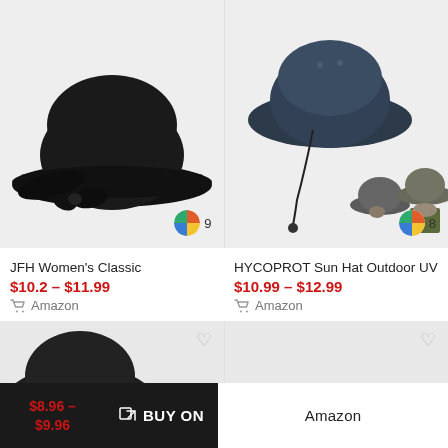[Figure (photo): Black women's classic hat with bow, displayed on light gray background. Color count badge showing 9 colors.]
[Figure (photo): HYCOPROT navy blue sun hat outdoor UV, shown with two additional hat color variants. Color count badge showing 8 colors.]
JFH Women's Classic
$10.2 – $11.99
Amazon
HYCOPROT Sun Hat Outdoor UV
$10.99 – $12.99
Amazon
[Figure (photo): Partial view of a dark hat product card with heart/favorite icon]
[Figure (photo): Partial view of a second hat product card with heart/favorite icon]
$8.96 – $9.96
BUY ON
Amazon